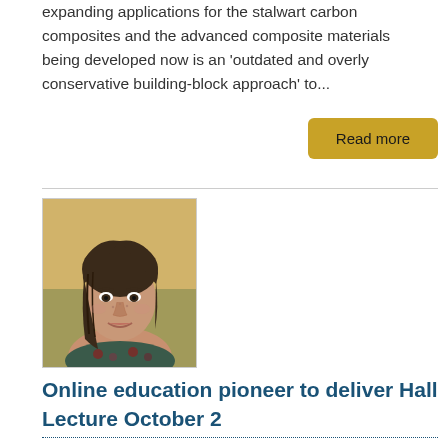expanding applications for the stalwart carbon composites and the advanced composite materials being developed now is an 'outdated and overly conservative building-block approach' to...
[Figure (photo): Portrait photograph of a woman with dark hair, smiling, wearing a floral-patterned top, photographed outdoors]
Online education pioneer to deliver Hall Lecture October 2